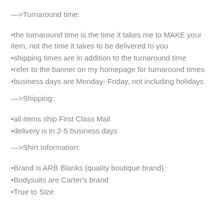—>Turnaround time:
•the turnaround time is the time it takes me to MAKE your item, not the time it takes to be delivered to you
•shipping times are in addition to the turnaround time
•refer to the banner on my homepage for turnaround times
•business days are Monday- Friday, not including holidays
—>Shipping:
•all items ship First Class Mail
•delivery is in 2-5 business days
—>Shirt Information:
•Brand is ARB Blanks (quality boutique brand)
•Bodysuits are Carter's brand
•True to Size